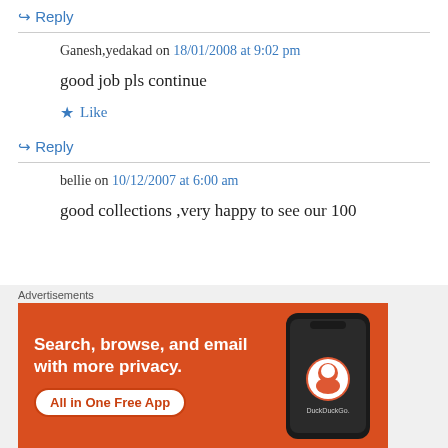↪ Reply
Ganesh,yedakad on 18/01/2008 at 9:02 pm
good job pls continue
★ Like
↪ Reply
bellie on 10/12/2007 at 6:00 am
good collections ,very happy to see our 100
Advertisements
[Figure (other): DuckDuckGo advertisement banner: orange background with text 'Search, browse, and email with more privacy. All in One Free App' and DuckDuckGo logo on a phone mockup]